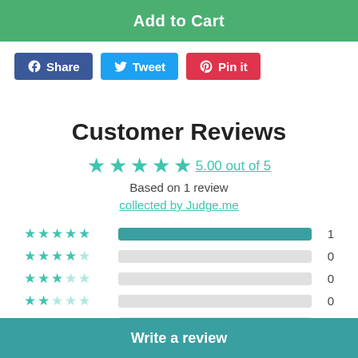Add to Cart
Share  Tweet  Pin it
Customer Reviews
5.00 out of 5
Based on 1 review
collected by Judge.me
[Figure (bar-chart): Rating distribution]
Write a review